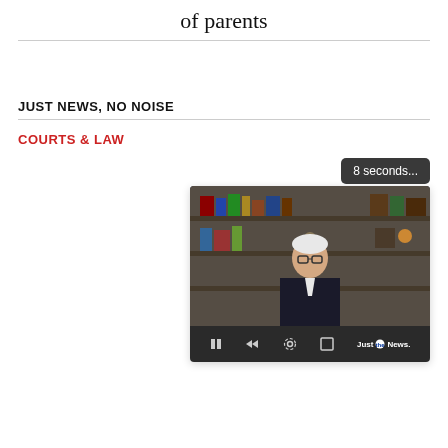of parents
JUST NEWS, NO NOISE
COURTS & LAW
[Figure (screenshot): Video player showing a man in a dark suit seated in front of bookshelves. A tooltip overlay reads '8 seconds...' in the top right. The video controls bar at the bottom shows pause, rewind, settings, and fullscreen icons, along with the 'Just the News' logo.]